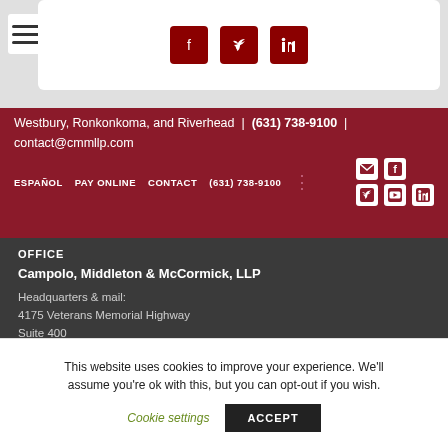[Figure (screenshot): Top section with hamburger menu and social media icons (Facebook, Twitter, LinkedIn) in dark red on light gray background]
Westbury, Ronkonkoma, and Riverhead | (631) 738-9100 | contact@cmmllp.com
ESPAÑOL  PAY ONLINE  CONTACT  (631) 738-9100
OFFICE
Campolo, Middleton & McCormick, LLP
Headquarters & mail:
4175 Veterans Memorial Highway
Suite 400
Ronkonkoma, NY 11779
This website uses cookies to improve your experience. We'll assume you're ok with this, but you can opt-out if you wish.